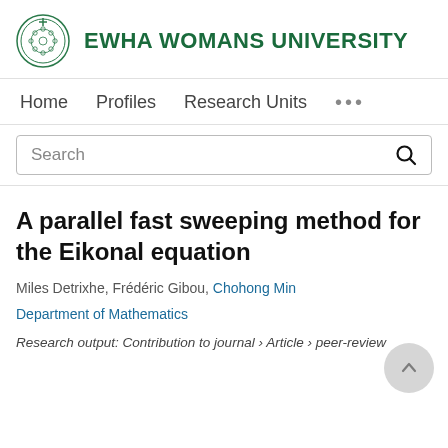EWHA WOMANS UNIVERSITY
Home   Profiles   Research Units   ...
Search
A parallel fast sweeping method for the Eikonal equation
Miles Detrixhe, Frédéric Gibou, Chohong Min
Department of Mathematics
Research output: Contribution to journal › Article › peer-review